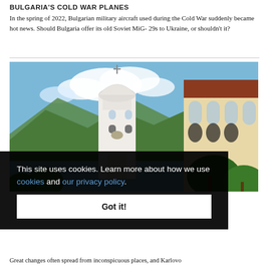BULGARIA'S COLD WAR PLANES
In the spring of 2022, Bulgarian military aircraft used during the Cold War suddenly became hot news. Should Bulgaria offer its old Soviet MiG- 29s to Ukraine, or shouldn't it?
[Figure (photo): Photograph of a white church bell tower with a domed top and cross, set against a blue sky with clouds and green mountains in the background. To the right is a large ornate building with arched windows.]
This site uses cookies. Learn more about how we use cookies and our privacy policy.
Got it!
Great changes often spread from inconspicuous places, and Karlovo